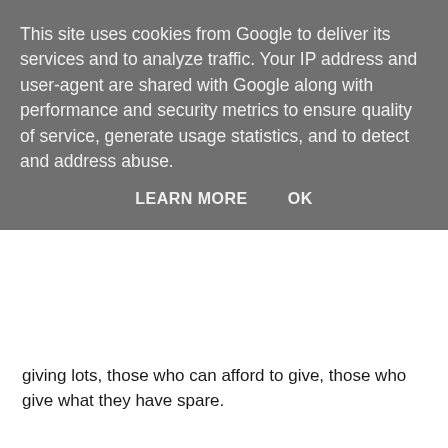This site uses cookies from Google to deliver its services and to analyze traffic. Your IP address and user-agent are shared with Google along with performance and security metrics to ensure quality of service, generate usage statistics, and to detect and address abuse.
LEARN MORE   OK
giving lots, those who can afford to give, those who give what they have spare.
I am left wondering what happened to that widow, I am sure that at the end of her life she met Christ in heaven. With a great grin on his face He looked at her and said, “I watched you on the day in the temple, when gave your last two coins, I was so proud of you.” But I also wonder what her life was like after taking that step, that step of trust, of faith, the step to give everything to God. To hold on to nothing and put your life in His hands. We all have this opportunity but so few of us take it.
This weeks teaching is challenging. This week we are given